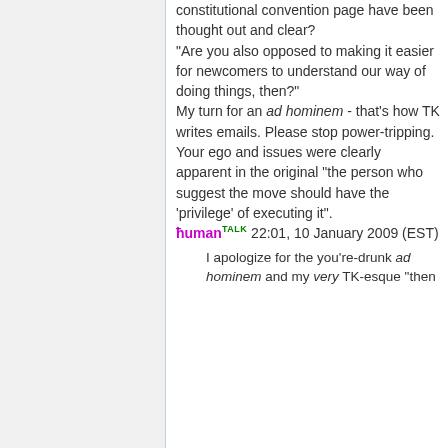constitutional convention page have been thought out and clear? "Are you also opposed to making it easier for newcomers to understand our way of doing things, then?" My turn for an ad hominem - that's how TK writes emails. Please stop power-tripping. Your ego and issues were clearly apparent in the original "the person who suggest the move should have the 'privilege' of executing it". ħuman TALK 22:01, 10 January 2009 (EST)
I apologize for the you're-drunk ad hominem and my very TK-esque "then